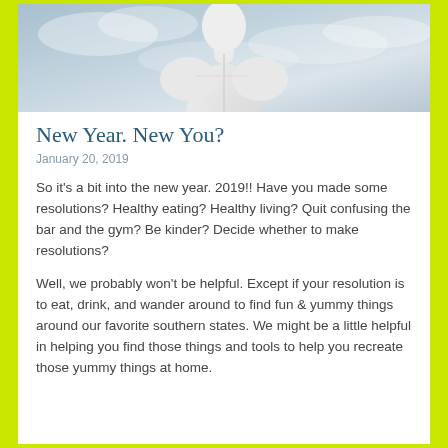[Figure (photo): Top portion of a white statue or mannequin against a cloudy sky background, showing back/shoulders area]
New Year. New You?
January 20, 2019
So it's a bit into the new year. 2019!! Have you made some resolutions? Healthy eating? Healthy living? Quit confusing the bar and the gym? Be kinder? Decide whether to make resolutions?
Well, we probably won't be helpful. Except if your resolution is to eat, drink, and wander around to find fun & yummy things around our favorite southern states. We might be a little helpful in helping you find those things and tools to help you recreate those yummy things at home.